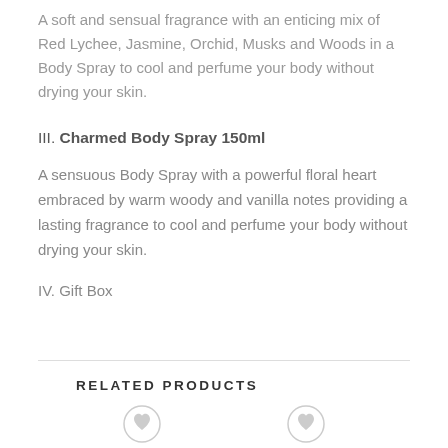A soft and sensual fragrance with an enticing mix of Red Lychee, Jasmine, Orchid, Musks and Woods in a Body Spray to cool and perfume your body without drying your skin.
III. Charmed Body Spray 150ml
A sensuous Body Spray with a powerful floral heart embraced by warm woody and vanilla notes providing a lasting fragrance to cool and perfume your body without drying your skin.
IV. Gift Box
RELATED PRODUCTS